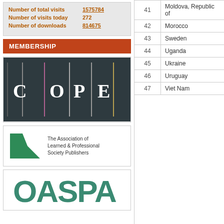|  |  |
| --- | --- |
| Number of total visits | 1575784 |
| Number of visits today | 272 |
| Number of downloads | 814675 |
MEMBERSHIP
[Figure (logo): COPE logo - dark background with vertical colored lines and letters C O P E]
[Figure (logo): The Association of Learned & Professional Society Publishers logo with green arrow icon]
[Figure (logo): OASPA logo in teal/green lettering]
|  |  |
| --- | --- |
| 41 | Moldova, Republic of |
| 42 | Morocco |
| 43 | Sweden |
| 44 | Uganda |
| 45 | Ukraine |
| 46 | Uruguay |
| 47 | Viet Nam |